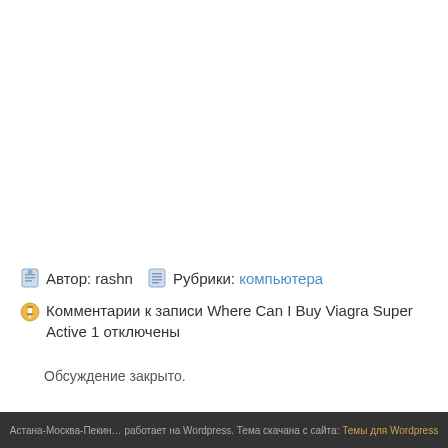Автор: rashn   Рубрики: компьютера
Комментарии к записи Where Can I Buy Viagra Super Active 1 отключены
Обсуждение закрыто.
Астана-Москва-Пекин… работает на Wordpress. Тема скачана с сайта: Темы для Wordpress